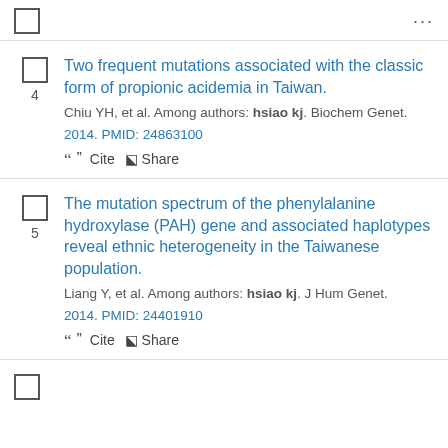4. Two frequent mutations associated with the classic form of propionic acidemia in Taiwan. Chiu YH, et al. Among authors: hsiao kj. Biochem Genet. 2014. PMID: 24863100
5. The mutation spectrum of the phenylalanine hydroxylase (PAH) gene and associated haplotypes reveal ethnic heterogeneity in the Taiwanese population. Liang Y, et al. Among authors: hsiao kj. J Hum Genet. 2014. PMID: 24401910